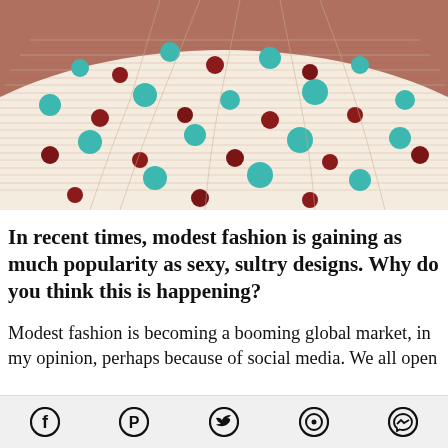[Figure (photo): Bottom portion of a colorful polka-dot patterned dress spread out on a dusty rose/mauve background. The dress fabric is light with teal/turquoise and dark red/maroon circular dot embellishments.]
In recent times, modest fashion is gaining as much popularity as sexy, sultry designs. Why do you think this is happening?
Modest fashion is becoming a booming global market, in my opinion, perhaps because of social media. We all open
Facebook | Pinterest | Twitter | WhatsApp | Messenger